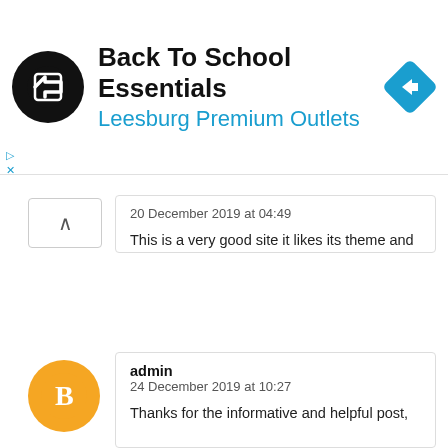[Figure (screenshot): Advertisement banner for Back To School Essentials at Leesburg Premium Outlets with logo and navigation arrow icon]
20 December 2019 at 04:49
This is a very good site it likes its theme and its overlay this is looking very good thanks for sharing such type such type of content with us. also visit my site to download the app which will provide you an app which will help you to download and watch all types of latest and old movies or tv serials for free without any credit card Visit Here To Download
REPLY
admin
24 December 2019 at 10:27
Thanks for the informative and helpful post,